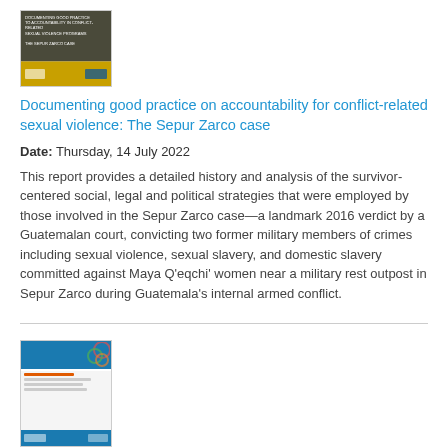[Figure (illustration): Thumbnail image of a report cover with dark background and yellow/gold bottom bar with logos]
Documenting good practice on accountability for conflict-related sexual violence: The Sepur Zarco case
Date: Thursday, 14 July 2022
This report provides a detailed history and analysis of the survivor-centered social, legal and political strategies that were employed by those involved in the Sepur Zarco case—a landmark 2016 verdict by a Guatemalan court, convicting two former military members of crimes including sexual violence, sexual slavery, and domestic slavery committed against Maya Q'eqchi' women near a military rest outpost in Sepur Zarco during Guatemala's internal armed conflict.
[Figure (illustration): Thumbnail image of a fact sheet with blue header, circular design elements, and orange accent]
Fact sheet on indigenous women with disabilities